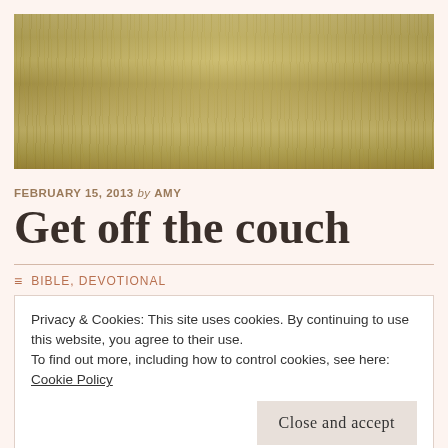[Figure (photo): Close-up photograph of golden wheat grain stalks in a field]
FEBRUARY 15, 2013 by AMY
Get off the couch
BIBLE, DEVOTIONAL
Privacy & Cookies: This site uses cookies. By continuing to use this website, you agree to their use.
To find out more, including how to control cookies, see here: Cookie Policy
Close and accept
WORKING, WORKING FOR GOD